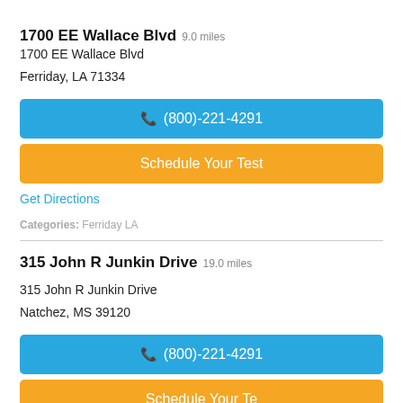1700 EE Wallace Blvd 9.0 miles
1700 EE Wallace Blvd
Ferriday, LA 71334
(800)-221-4291
Schedule Your Test
Get Directions
Categories: Ferriday LA
315 John R Junkin Drive 19.0 miles
315 John R Junkin Drive
Natchez, MS 39120
(800)-221-4291
Schedule Your Test